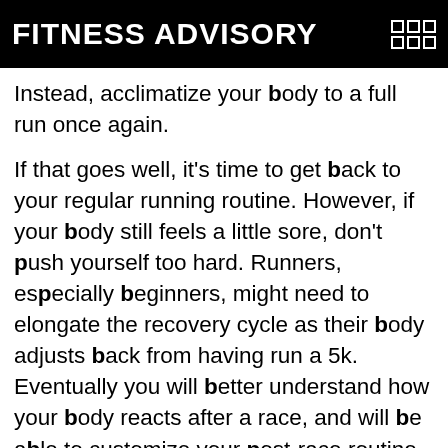FITNESS ADVISORY
Instead, acclimatize your body to a full run once again.
If that goes well, it's time to get back to your regular running routine. However, if your body still feels a little sore, don't push yourself too hard. Runners, especially beginners, might need to elongate the recovery cycle as their body adjusts back from having run a 5k. Eventually you will better understand how your body reacts after a race, and will be able to customize your post-race routine accordingly as you attempt longer distances.
If you need help getting ready for your next 5k, 10k or even a marathon, we can prepare you for the physical and mental challenges you will need to